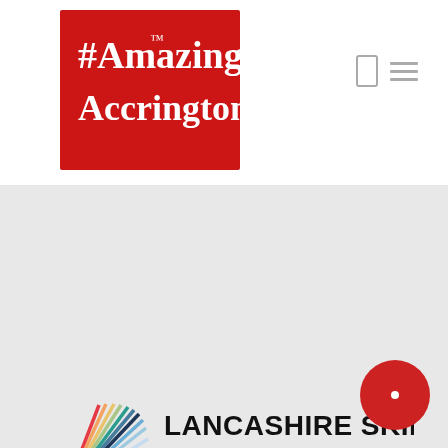[Figure (logo): #Amazing Accrington logo — red rectangle with white serif text '#Amazing Accrington' and trademark symbol]
[Figure (logo): Lancashire Skills & Employment Hub logo — open book with coloured spines on left, bold black text 'LANCASHIRE SKILLS & EMPLOYMENT HUB' on right]
[Figure (logo): Lancashire Enterprise Partnership logo — colourful ribbon/knot symbol with text 'Lancashire Enterprise Partnership' in grey]